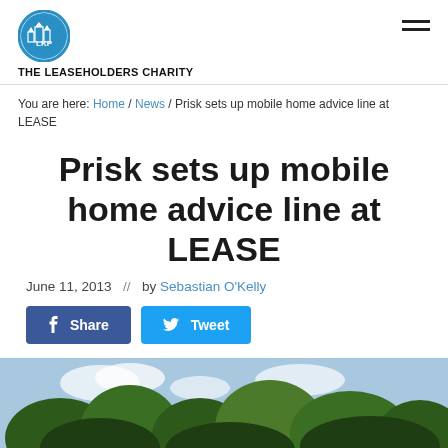THE LEASEHOLDERS CHARITY
You are here: Home / News / Prisk sets up mobile home advice line at LEASE
Prisk sets up mobile home advice line at LEASE
June 11, 2013  //  by Sebastian O'Kelly
[Figure (screenshot): Facebook Share and Twitter Tweet social sharing buttons]
[Figure (photo): Outdoor photo showing trees against a blue sky background]